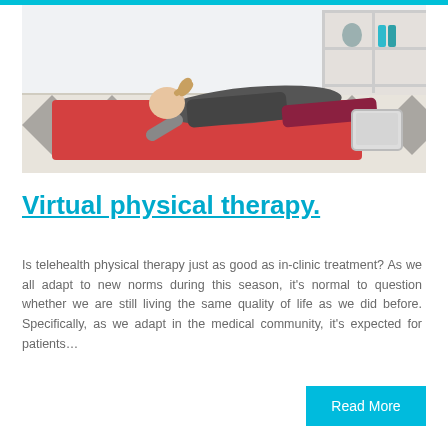[Figure (photo): Woman doing a plank exercise on a red yoga mat on a patterned rug, with a tablet device visible in the foreground and shelving in the background, viewed from the side.]
Virtual physical therapy.
Is telehealth physical therapy just as good as in-clinic treatment? As we all adapt to new norms during this season, it's normal to question whether we are still living the same quality of life as we did before. Specifically, as we adapt in the medical community, it's expected for patients…
Read More